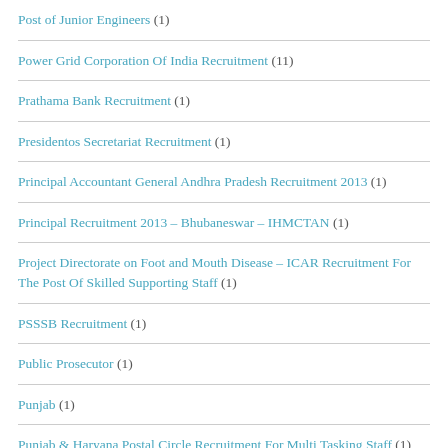Post of Junior Engineers (1)
Power Grid Corporation Of India Recruitment (11)
Prathama Bank Recruitment (1)
Presidentos Secretariat Recruitment (1)
Principal Accountant General Andhra Pradesh Recruitment 2013 (1)
Principal Recruitment 2013 – Bhubaneswar – IHMCTAN (1)
Project Directorate on Foot and Mouth Disease – ICAR Recruitment For The Post Of Skilled Supporting Staff (1)
PSSSB Recruitment (1)
Public Prosecutor (1)
Punjab (1)
Punjab & Haryana Postal Circle Recruitment For Multi Tasking Staff (1)